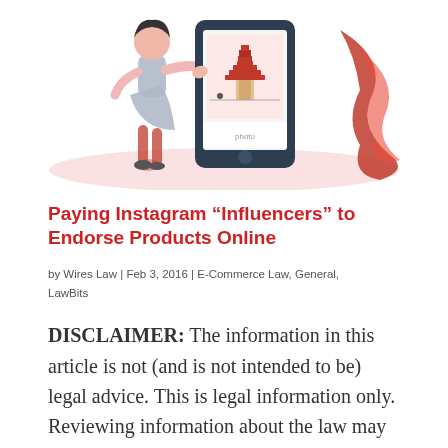[Figure (illustration): Illustration of a person holding a large tablet/phone device with a Chinese pagoda image on screen, with decorative red flame/wave shape in background, on a pink oval base]
Paying Instagram “Influencers” to Endorse Products Online
by Wires Law | Feb 3, 2016 | E-Commerce Law, General, LawBits
DISCLAIMER: The information in this article is not (and is not intended to be) legal advice. This is legal information only. Reviewing information about the law may help you understand whether